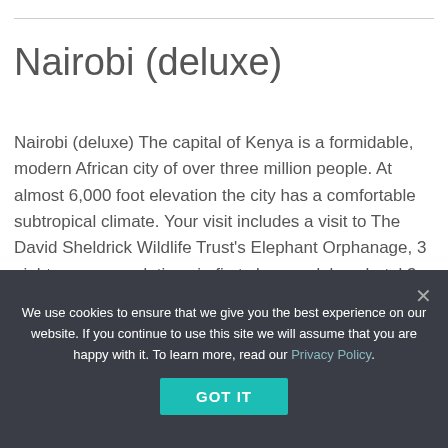Nairobi (deluxe)
Nairobi (deluxe) The capital of Kenya is a formidable, modern African city of over three million people. At almost 6,000 foot elevation the city has a comfortable subtropical climate. Your visit includes a visit to The David Sheldrick Wildlife Trust's Elephant Orphanage, 3 nights accommodations in first class or deluxe hotel 3 breakfasts & 1...
Starting at
$1,250.00+
We use cookies to ensure that we give you the best experience on our website. If you continue to use this site we will assume that you are happy with it. To learn more, read our Privacy Policy.
GOT IT